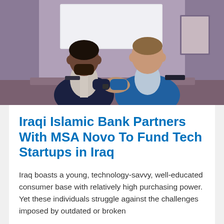[Figure (photo): Two men in business suits shaking hands, seated at a table. One man wearing a dark navy suit, the other wearing a blue blazer over a light blue shirt. Purple/mauve wall and framed artwork in background.]
Iraqi Islamic Bank Partners With MSA Novo To Fund Tech Startups in Iraq
Iraq boasts a young, technology-savvy, well-educated consumer base with relatively high purchasing power. Yet these individuals struggle against the challenges imposed by outdated or broken